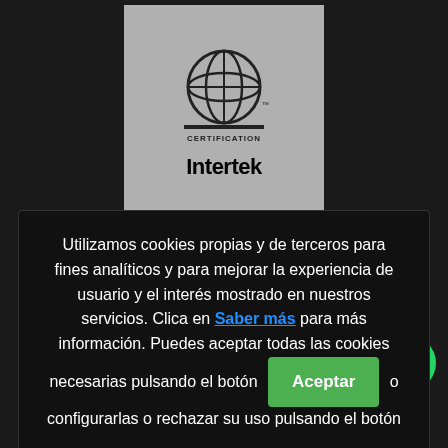[Figure (logo): Intertek Certification globe logo on grey background]
Utilizamos cookies propias y de terceros para fines analíticos y para mejorar la experiencia de usuario y el interés mostrado en nuestros servicios. Clica en Saber más para más información. Puedes aceptar todas las cookies necesarias pulsando el botón Aceptar o configurarlas o rechazar su uso pulsando el botón Configuración.
[Figure (logo): Payment method logos: Maestro, MasterCard, PayPal, VISA]
Pago directo con TPV
Pago mediante BIZUM